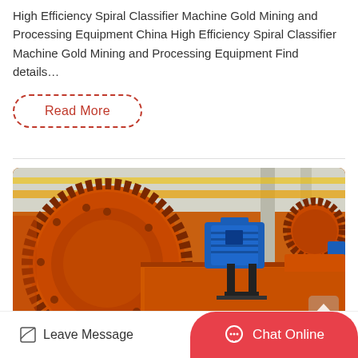High Efficiency Spiral Classifier Machine Gold Mining and Processing Equipment China High Efficiency Spiral Classifier Machine Gold Mining and Processing Equipment Find details…
Read More
[Figure (photo): Large orange industrial ball mill / grinding equipment with blue electric motor mounted on top, in a factory/warehouse setting with orange machinery visible in background.]
Leave Message
Chat Online